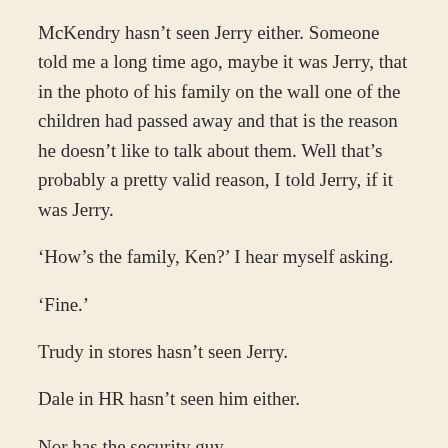McKendry hasn't seen Jerry either. Someone told me a long time ago, maybe it was Jerry, that in the photo of his family on the wall one of the children had passed away and that is the reason he doesn't like to talk about them. Well that's probably a pretty valid reason, I told Jerry, if it was Jerry.
‘How’s the family, Ken?’ I hear myself asking.
‘Fine.’
Trudy in stores hasn’t seen Jerry.
Dale in HR hasn’t seen him either.
Nor has the security guy.